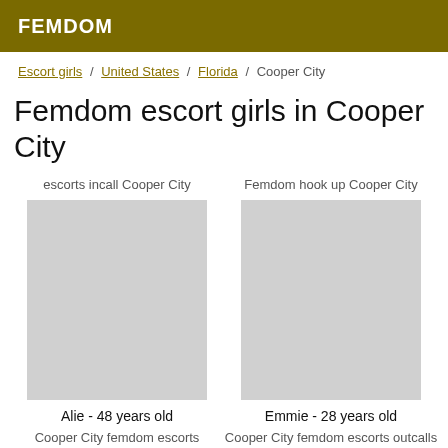FEMDOM
Escort girls / United States / Florida / Cooper City
Femdom escort girls in Cooper City
escorts incall Cooper City
Femdom hook up Cooper City
[Figure (photo): Photo placeholder for Alie]
[Figure (photo): Photo placeholder for Emmie]
Alie - 48 years old
Emmie - 28 years old
Cooper City femdom escorts
Cooper City femdom escorts outcalls